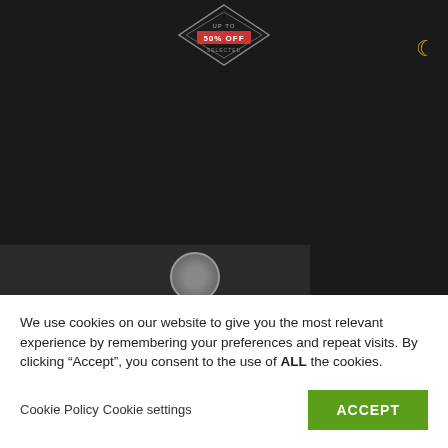[Figure (screenshot): Dark website background with a diamond-shaped badge logo at the top center reading 'UP TO 50% OFF', a yellow crescent moon icon in the top right corner, and a dark panel at the bottom left with a circular camera/lens icon.]
We use cookies on our website to give you the most relevant experience by remembering your preferences and repeat visits. By clicking “Accept”, you consent to the use of ALL the cookies.
Cookie Policy Cookie settings
ACCEPT